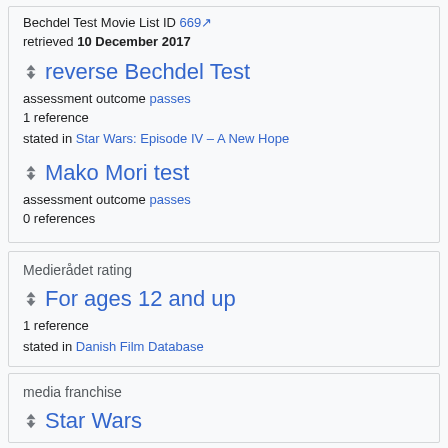Bechdel Test Movie List ID 669 [external link]
retrieved 10 December 2017
reverse Bechdel Test
assessment outcome passes
1 reference
stated in Star Wars: Episode IV – A New Hope
Mako Mori test
assessment outcome passes
0 references
Medierådet rating
For ages 12 and up
1 reference
stated in Danish Film Database
media franchise
Star Wars